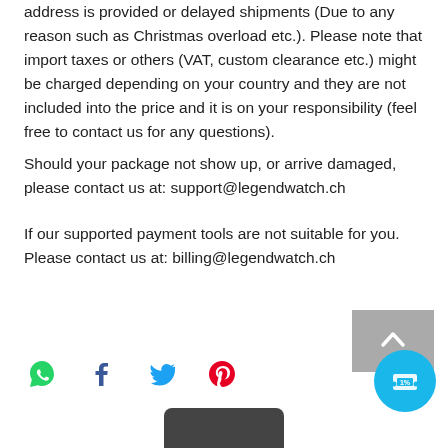address is provided or delayed shipments (Due to any reason such as Christmas overload etc.). Please note that import taxes or others (VAT, custom clearance etc.) might be charged depending on your country and they are not included into the price and it is on your responsibility (feel free to contact us for any questions).
Should your package not show up, or arrive damaged, please contact us at: support@legendwatch.ch
If our supported payment tools are not suitable for you. Please contact us at: billing@legendwatch.ch
[Figure (other): Back to top arrow button (grey square with white upward chevron)]
[Figure (other): Social share icons row: WhatsApp (green), Facebook (dark), Twitter (blue bird), Pinterest (red/pink)]
[Figure (other): Coupon/discount circular button (blue circle with ticket/percent icon)]
[Figure (other): Bottom product object (dark rounded rectangle, partially visible)]